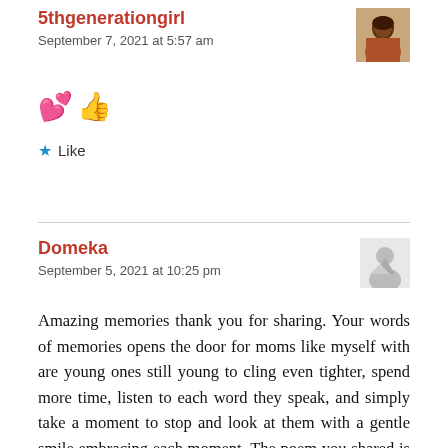5thgenerationgirl
September 7, 2021 at 5:57 am
💕👍
★ Like
Domeka
September 5, 2021 at 10:25 pm
Amazing memories thank you for sharing. Your words of memories opens the door for moms like myself with are young ones still young to cling even tighter, spend more time, listen to each word they speak, and simply take a moment to stop and look at them with a gentle smile embracing each moment. The poem you shared is always amazing to read through keep up the good